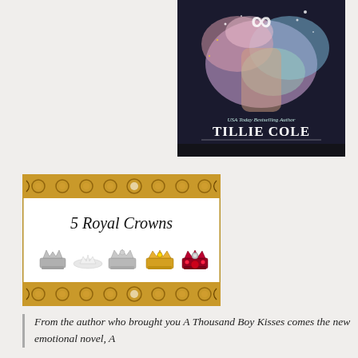[Figure (photo): Book cover showing a shirtless man with colorful powder/paint explosion effect. Text reads 'USA Today Bestselling Author TILLIE COLE' with an infinity-like symbol at the top.]
[Figure (illustration): Rating graphic with ornate gold border showing '5 Royal Crowns' in italic script, with five crown emoji/icons below (silver, tiara, silver, gold, red/ruby crowns).]
From the author who brought you A Thousand Boy Kisses comes the new emotional novel, A